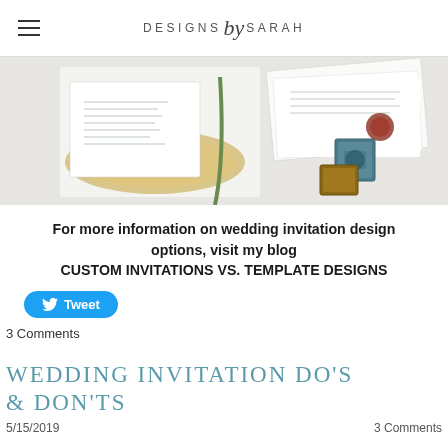DESIGNS by SARAH
[Figure (photo): Flat lay photo of wedding invitations, cards, and stamps arranged on a white surface with a golden tray and a green flower stem.]
For more information on wedding invitation design options, visit my blog CUSTOM INVITATIONS VS. TEMPLATE DESIGNS
[Figure (other): Twitter Tweet button]
3 Comments
WEDDING INVITATION DO'S & DON'TS
5/15/2019
3 Comments